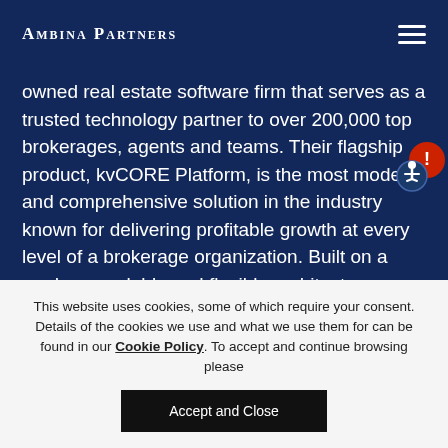Ambina Partners
owned real estate software firm that serves as a trusted technology partner to over 200,000 top brokerages, agents and teams. Their flagship product, kvCORE Platform, is the most modern and comprehensive solution in the industry known for delivering profitable growth at every level of a brokerage organization. Built on a modern, scalable and flexible architecture, kvCORE enables every brokerage to create their own unique technology ecosystem through custom branding, robust integrations and high-
This website uses cookies, some of which require your consent. Details of the cookies we use and what we use them for can be found in our Cookie Policy. To accept and continue browsing please
Accept and Close